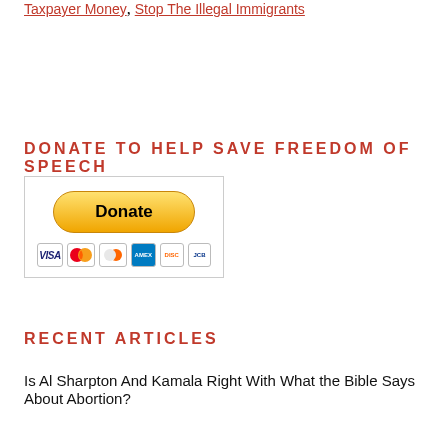Taxpayer Money, Stop The Illegal Immigrants
DONATE TO HELP SAVE FREEDOM OF SPEECH
[Figure (other): PayPal Donate button with payment card icons (Visa, Mastercard, Discover, Amex, and others) inside a bordered box]
RECENT ARTICLES
Is Al Sharpton And Kamala Right With What the Bible Says About Abortion?